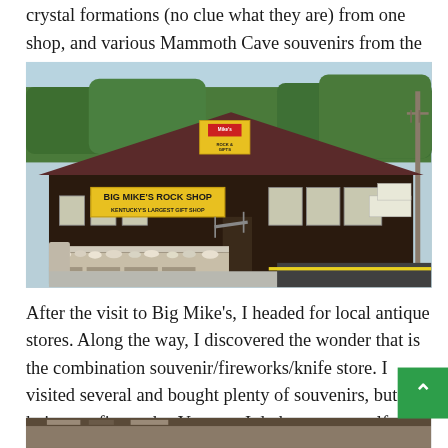crystal formations (no clue what they are) from one shop, and various Mammoth Cave souvenirs from the other.
[Figure (photo): Exterior photo of Big Mike's Rock Shop, a roadside gift shop with a large yellow sign reading 'BIG MIKE'S ROCK SHOP' and a smaller sign on top. The building has a dark brown exterior with a peaked roof. In front are outdoor displays of rocks and minerals on tables. A parking lot with yellow curb is visible to the right.]
After the visit to Big Mike's, I headed for local antique stores. Along the way, I discovered the wonder that is the combination souvenir/fireworks/knife store. I visited several and bought plenty of souvenirs, but no knives or fireworks. You see, I do have some self-control.
[Figure (photo): Partial photo visible at bottom of page, appears to be another shop or location.]